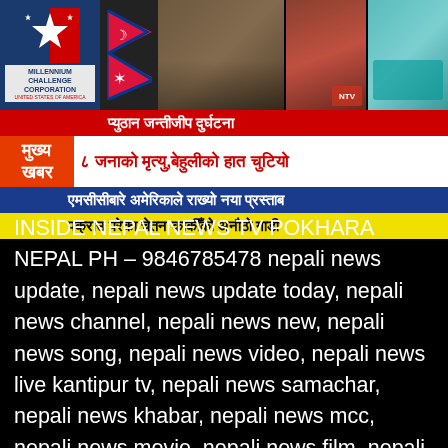[Figure (screenshot): News banner thumbnail showing Millennium Challenge Corporation logo, Nepal flag, accident scene photos, and a teal vehicle]
प्युठान जन्तीजीप दुर्घटना
मुख्य खबर
८ जनाको मृत्यु,बेहुलीको हात चुटियो
एमसीसीबारे अमेरिकाले राख्यो नया प्रस्ताब
पक्राउ परेका चेतन काकीँको अनौठो गाडी
INSIDE NEPAL NEWS TV POKHARA NEPAL PH – 9846785478 nepali news update, nepali news update today, nepali news channel, nepali news new, nepali news song, nepali news video, nepali news live kantipur tv, nepali news samachar, nepali news khabar, nepali news mcc, nepali news movie, nepali news film, nepali news latest, aajako samachar